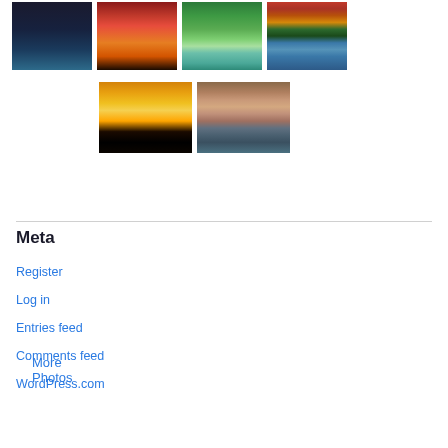[Figure (photo): Grid of 6 nature photos: lightning storm, red sunset landscape, waterfall in green jungle, stone bridge over autumn lake reflection, silhouetted people at golden sunset, dusk lake scene]
More Photos
Meta
Register
Log in
Entries feed
Comments feed
WordPress.com